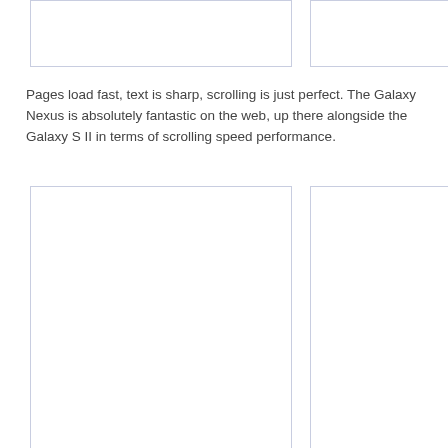[Figure (other): Top-left empty image placeholder box]
[Figure (other): Top-right empty image placeholder box (partially visible)]
Pages load fast, text is sharp, scrolling is just perfect. The Galaxy Nexus is absolutely fantastic on the web, up there alongside the Galaxy S II in terms of scrolling speed performance.
[Figure (other): Bottom-left empty image placeholder box]
[Figure (other): Bottom-right empty image placeholder box (partially visible)]